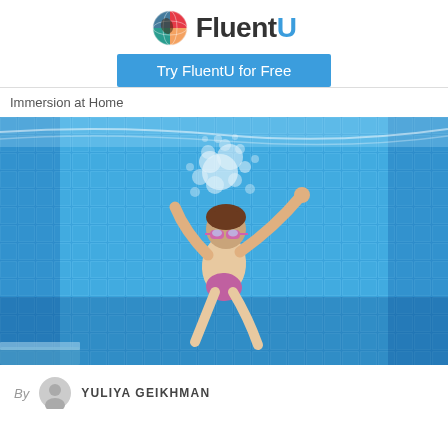FluentU - Try FluentU for Free
Immersion at Home
[Figure (photo): Underwater photo of a child with pink goggles swimming in a blue tiled pool, arms raised, with bubbles around them]
By YULIYA GEIKHMAN